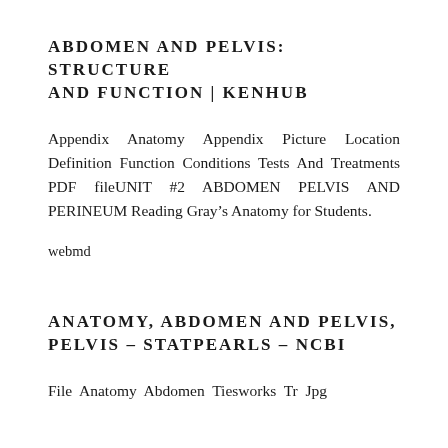ABDOMEN AND PELVIS: STRUCTURE AND FUNCTION | KENHUB
Appendix Anatomy Appendix Picture Location Definition Function Conditions Tests And Treatments PDF fileUNIT #2 ABDOMEN PELVIS AND PERINEUM Reading Gray’s Anatomy for Students.
webmd
ANATOMY, ABDOMEN AND PELVIS, PELVIS – STATPEARLS – NCBI
File Anatomy Abdomen Tiesworks Tr Jpg